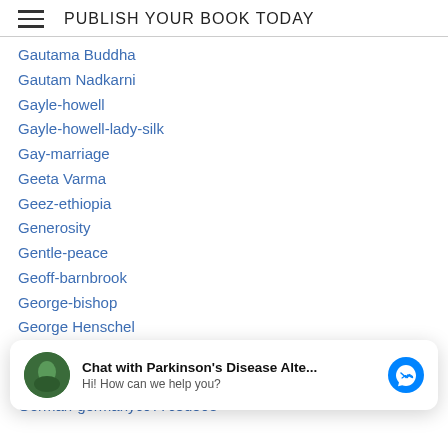PUBLISH YOUR BOOK TODAY
Gautama Buddha
Gautam Nadkarni
Gayle-howell
Gayle-howell-lady-silk
Gay-marriage
Geeta Varma
Geez-ethiopia
Generosity
Gentle-peace
Geoff-barnbrook
George-bishop
George Henschel
Gerald-solomon
Geriatric Medicine
Chat with Parkinson's Disease Alte... Hi! How can we help you?
German-germanyc977c3d56e